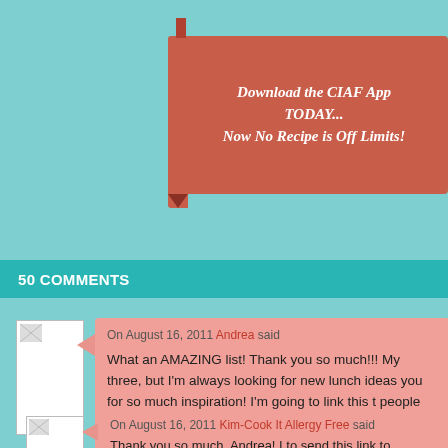[Figure (infographic): Red banner advertisement for CIAF App with italic bold white text reading: Download the CIAF App TODAY... Now No Recipe is Off Limits!]
50 COMMENTS
On August 16, 2011 Andrea said
What an AMAZING list! Thank you so much!!! My three, but I'm always looking for new lunch ideas you for so much inspiration! I'm going to link this t people can access your fantastic ideas.
Thank you,
Andrea
Reply
On August 16, 2011 Kim-Cook It Allergy Free said